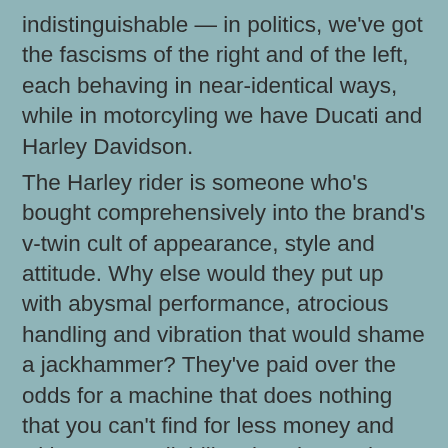indistinguishable — in politics, we've got the fascisms of the right and of the left, each behaving in near-identical ways, while in motorcyling we have Ducati and Harley Davidson. The Harley rider is someone who's bought comprehensively into the brand's v-twin cult of appearance, style and attitude. Why else would they put up with abysmal performance, atrocious handling and vibration that would shame a jackhammer? They've paid over the odds for a machine that does nothing that you can't find for less money and with greater reliability elsewhere. That's only the start — no Harley is considered to be worth a second glance unless it's been laden with enough extras and chrome to make the original purchase price pale into insignificance. We sneer at the Harley rider. Now look at us Ducati riders: folks who've bought comprehensively into the v-twin brand's cult of appearance, style and attitude. Why else would we put